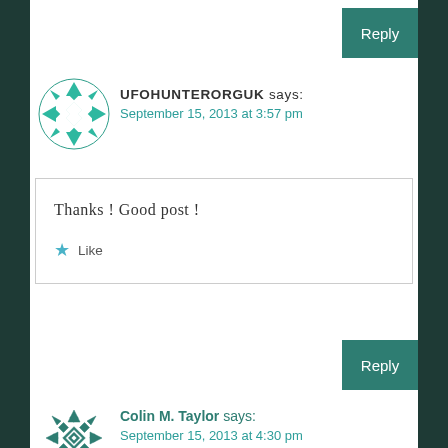Reply
UFOHUNTERORGUK says:
September 15, 2013 at 3:57 pm
Thanks ! Good post !
Like
Reply
Colin M. Taylor says:
September 15, 2013 at 4:30 pm